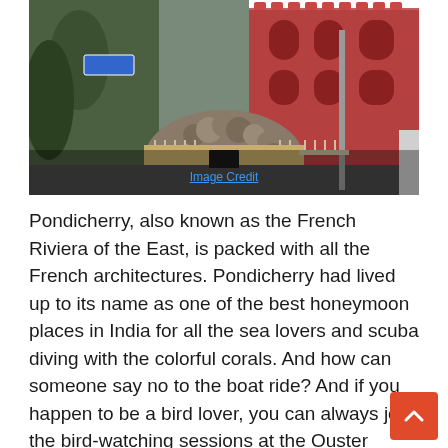[Figure (photo): Photograph of a stone structure resembling a large cairn or monument with rounded stones, in front of a red and white colonial-era building with arched windows. A street pole is visible on the right, with a fence and greenery at the base.]
Image Credit
Pondicherry, also known as the French Riviera of the East, is packed with all the French architectures. Pondicherry had lived up to its name as one of the best honeymoon places in India for all the sea lovers and scuba diving with the colorful corals. And how can someone say no to the boat ride? And if you happen to be a bird lover, you can always join the bird-watching sessions at the Ouster Lake. Book Your Pondicherry Tour